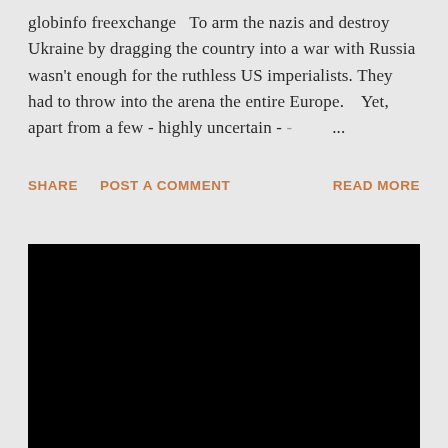globinfo freexchange   To arm the nazis and destroy Ukraine by dragging the country into a war with Russia wasn't enough for the ruthless US imperialists. They had to throw into the arena the entire Europe.    Yet, apart from a few - highly uncertain -        ...
SHARE   POST A COMMENT   READ MORE
[Figure (other): Large black rectangle representing an embedded video player]